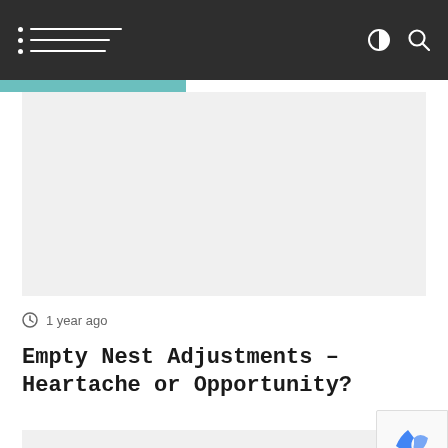Navigation bar with hamburger menu and search/contrast icons
[Figure (photo): Gray placeholder image area below teal accent bar]
1 year ago
Empty Nest Adjustments – Heartache or Opportunity?
[Figure (photo): Gray placeholder image area at bottom of page]